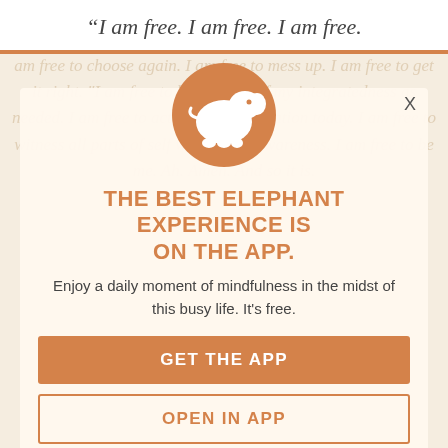“I am free. I am free. I am free.
[Figure (illustration): Orange circle with white elephant silhouette logo]
THE BEST ELEPHANT EXPERIENCE IS ON THE APP.
Enjoy a daily moment of mindfulness in the midst of this busy life. It’s free.
GET THE APP
OPEN IN APP